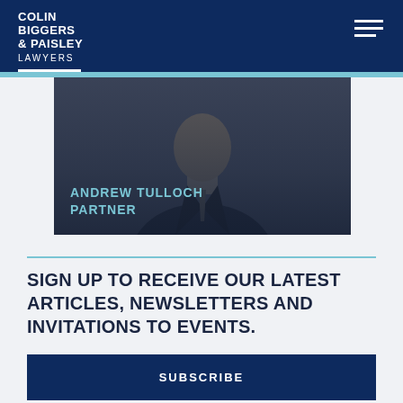COLIN BIGGERS & PAISLEY LAWYERS
[Figure (photo): Headshot of Andrew Tulloch, Partner at Colin Biggers & Paisley, man in suit with overlay text]
ANDREW TULLOCH
PARTNER
SIGN UP TO RECEIVE OUR LATEST ARTICLES, NEWSLETTERS AND INVITATIONS TO EVENTS.
SUBSCRIBE